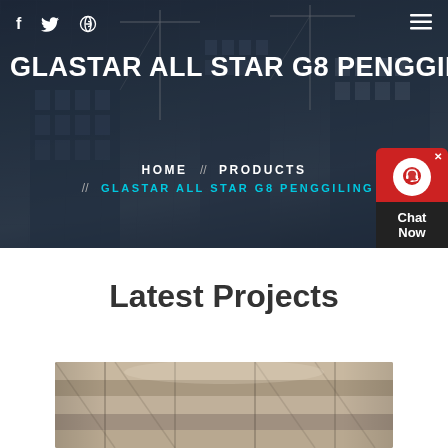[Figure (screenshot): Hero banner with construction site background showing cranes and buildings, dark blue overlay, with navigation bar showing social icons and hamburger menu]
GLASTAR ALL STAR G8 PENGGIL
HOME // PRODUCTS // GLASTAR ALL STAR G8 PENGGILING
[Figure (screenshot): Chat Now widget with red bubble icon and dark label]
Latest Projects
[Figure (photo): Construction site interior photo showing scaffolding and industrial structure]